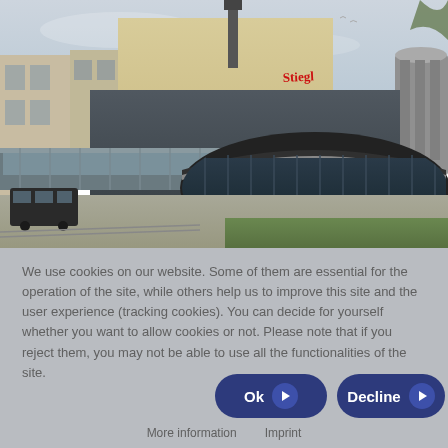[Figure (photo): Exterior photo of a brewery (Stiegl) building complex with a distinctive oval/round glass visitor center building in the foreground, industrial buildings with a chimney in the background, and a tram visible under a glass bridge walkway. Sky is overcast.]
We use cookies on our website. Some of them are essential for the operation of the site, while others help us to improve this site and the user experience (tracking cookies). You can decide for yourself whether you want to allow cookies or not. Please note that if you reject them, you may not be able to use all the functionalities of the site.
Ok
Decline
More information
Imprint